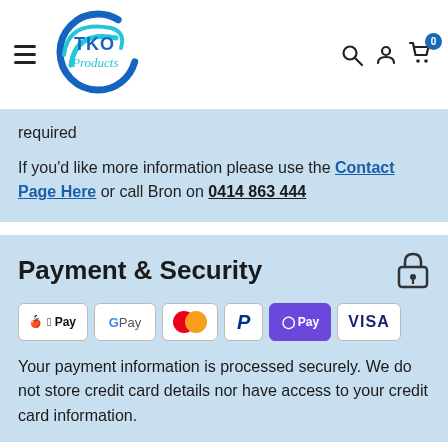[Figure (logo): TKO Products logo with blue circular brush stroke design]
required
If you'd like more information please use the Contact Page Here or call Bron on 0414 863 444
Payment & Security
[Figure (infographic): Payment method icons: Apple Pay, Google Pay, Mastercard, PayPal, OPay, Visa]
Your payment information is processed securely. We do not store credit card details nor have access to your credit card information.